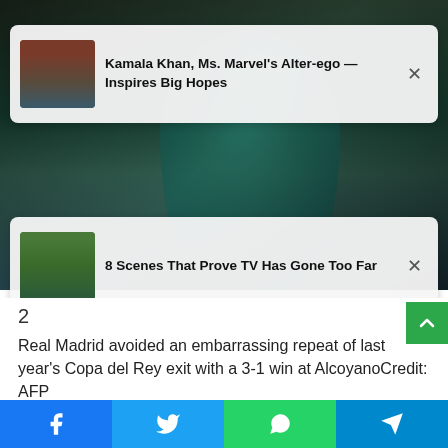[Figure (photo): Background photo of a soccer player wearing a teal jersey, with two overlay advertisement cards]
Kamala Khan, Ms. Marvel's Alter-ego — Inspires Big Hopes
8 Scenes That Prove TV Has Gone Too Far
2
Real Madrid avoided an embarrassing repeat of last year's Copa del Rey exit with a 3-1 win at AlcoyanoCredit: AFP